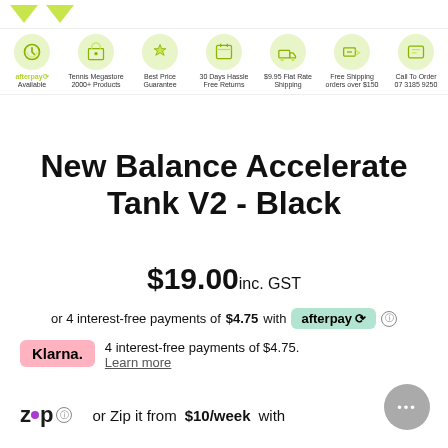[Figure (infographic): Icon bar with 7 feature icons: afterpay Available, Tennis Megastore 2000+ Products, Best Price Guarantee, 30 Days Hassle Free Returns, $9.95 Flat Rate Shipping, Free Shipping orders over $150, Call To Order 07 3185 9250]
New Balance Accelerate Tank V2 - Black
$19.00 inc. GST
or 4 interest-free payments of $4.75 with afterpay
Klarna. 4 interest-free payments of $4.75. Learn more
or Zip it from $10/week with